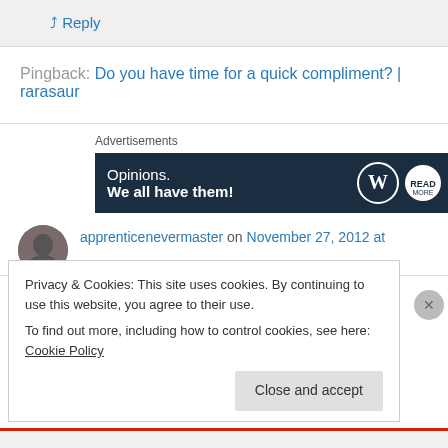↳ Reply
Pingback: Do you have time for a quick compliment? | rarasaur
Advertisements
[Figure (illustration): WordPress advertisement banner with text 'Opinions. We all have them!' and WordPress logo]
apprenticenevermaster on November 27, 2012 at
Privacy & Cookies: This site uses cookies. By continuing to use this website, you agree to their use.
To find out more, including how to control cookies, see here: Cookie Policy
Close and accept